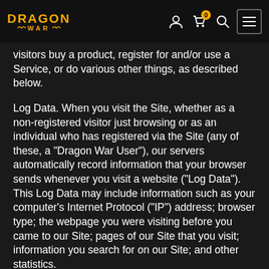Dragon War — navigation bar with logo, account, cart (0), search, menu icons
visitors buy a product, register for and/or use a Service, or do various other things, as described below.
Log Data. When you visit the Site, whether as a non-registered visitor just browsing or as an individual who has registered via the Site (any of these, a “Dragon War User”), our servers automatically record information that your browser sends whenever you visit a website (“Log Data”). This Log Data may include information such as your computer’s Internet Protocol (“IP”) address; browser type; the webpage you were visiting before you came to our Site; pages of our Site that you visit; information you search for on our Site; and other statistics.
Cookies. Like many websites, we use “cookies” -- small data files transferred to your computer’s hard disk – to collect information. We use two kinds of cookies. First, we utilize session ID cookies to enable certain features of the Site, to better understand how visitors interact with the Site, to monitor